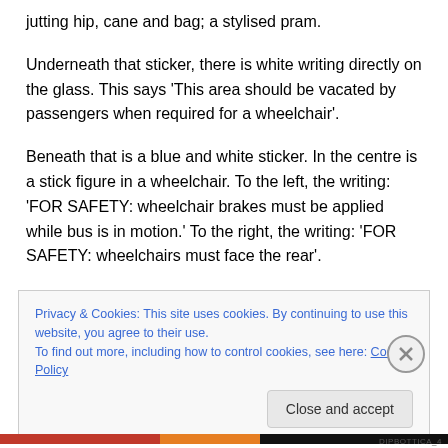jutting hip, cane and bag; a stylised pram.
Underneath that sticker, there is white writing directly on the glass. This says 'This area should be vacated by passengers when required for a wheelchair'.
Beneath that is a blue and white sticker. In the centre is a stick figure in a wheelchair. To the left, the writing: 'FOR SAFETY: wheelchair brakes must be applied while bus is in motion.' To the right, the writing: 'FOR SAFETY: wheelchairs must face the rear'.
Privacy & Cookies: This site uses cookies. By continuing to use this website, you agree to their use.
To find out more, including how to control cookies, see here: Cookie Policy
Close and accept